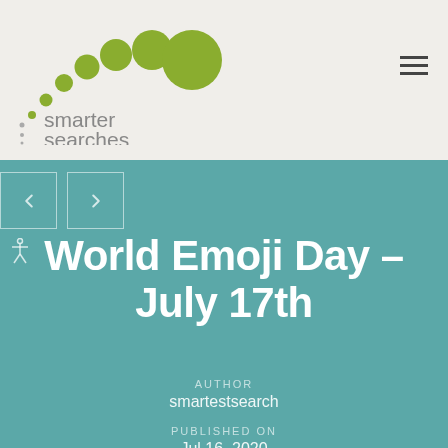[Figure (logo): Smarter Searches logo with green dots arranged in an arc and grey text reading 'smarter searches']
World Emoji Day – July 17th
AUTHOR
smartestsearch
PUBLISHED ON
July 16, 2020